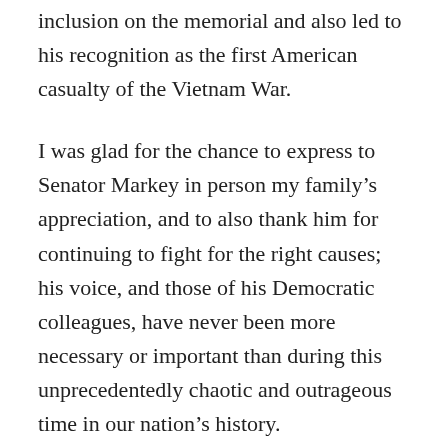inclusion on the memorial and also led to his recognition as the first American casualty of the Vietnam War.
I was glad for the chance to express to Senator Markey in person my family's appreciation, and to also thank him for continuing to fight for the right causes; his voice, and those of his Democratic colleagues, have never been more necessary or important than during this unprecedentedly chaotic and outrageous time in our nation's history.